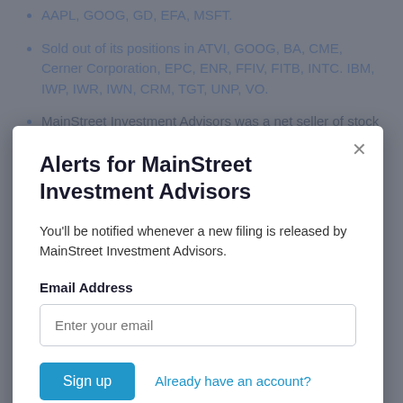AAPL, GOOG, GD, EFA, MSFT.
Sold out of its positions in ATVI, GOOG, BA, CME, Cerner Corporation, EPC, ENR, FFIV, FITB, INTC. IBM, IWP, IWR, IWN, CRM, TGT, UNP, VO.
MainStreet Investment Advisors was a net seller of stock by $-30M.
Alerts for MainStreet Investment Advisors
You'll be notified whenever a new filing is released by MainStreet Investment Advisors.
Email Address
Enter your email
Sign up
Already have an account?